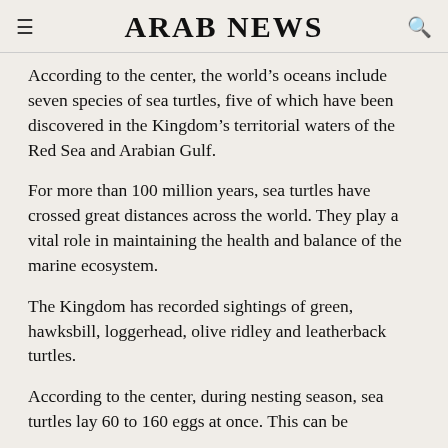ARAB NEWS
According to the center, the world’s oceans include seven species of sea turtles, five of which have been discovered in the Kingdom’s territorial waters of the Red Sea and Arabian Gulf.
For more than 100 million years, sea turtles have crossed great distances across the world. They play a vital role in maintaining the health and balance of the marine ecosystem.
The Kingdom has recorded sightings of green, hawksbill, loggerhead, olive ridley and leatherback turtles.
According to the center, during nesting season, sea turtles lay 60 to 160 eggs at once. This can be...